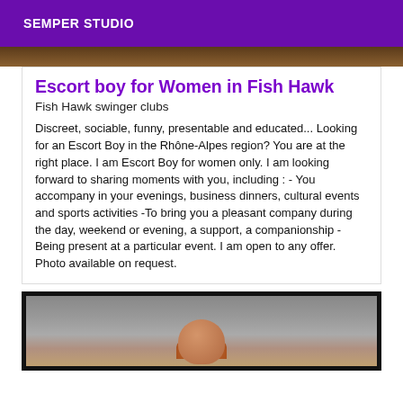SEMPER STUDIO
[Figure (photo): Partial photo strip at top of card — brown/tan tones, appears to be a cropped person photo]
Escort boy for Women in Fish Hawk
Fish Hawk swinger clubs
Discreet, sociable, funny, presentable and educated... Looking for an Escort Boy in the Rhône-Alpes region? You are at the right place. I am Escort Boy for women only. I am looking forward to sharing moments with you, including : - You accompany in your evenings, business dinners, cultural events and sports activities -To bring you a pleasant company during the day, weekend or evening, a support, a companionship - Being present at a particular event. I am open to any offer. Photo available on request.
[Figure (photo): Portrait photo of a person with reddish-brown hair against a gray background, shown from head/shoulders, inside a black-bordered frame]